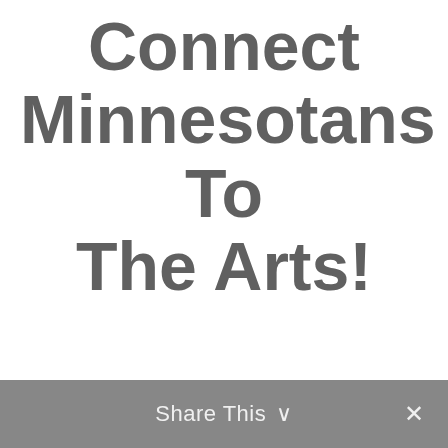Connect Minnesotans To The Arts!
Share This ∨  ✕